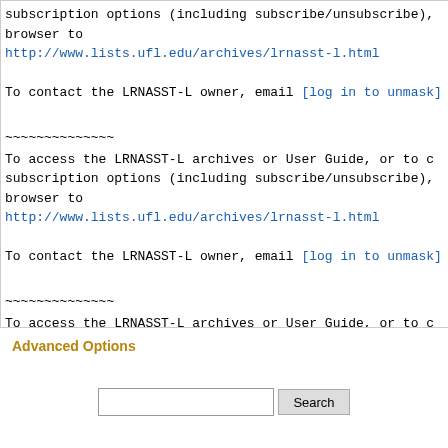subscription options (including subscribe/unsubscribe), browser to http://www.lists.ufl.edu/archives/lrnasst-l.html

To contact the LRNASST-L owner, email [log in to unmask]

~~~~~~~~~~~~~~
To access the LRNASST-L archives or User Guide, or to c subscription options (including subscribe/unsubscribe), browser to http://www.lists.ufl.edu/archives/lrnasst-l.html

To contact the LRNASST-L owner, email [log in to unmask]

~~~~~~~~~~~~~~
To access the LRNASST-L archives or User Guide, or to c subscription options (including subscribe/unsubscribe), http://www.lists.ufl.edu/archives/lrnasst-l.html

To contact the LRNASST-L owner, email [log in to unmask]
Advanced Options
Search